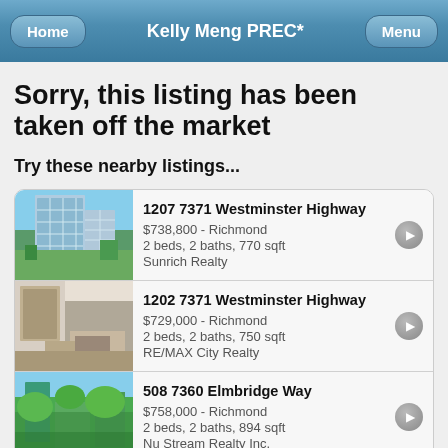Kelly Meng PREC*
Sorry, this listing has been taken off the market
Try these nearby listings...
1207 7371 Westminster Highway | $738,800 - Richmond | 2 beds, 2 baths, 770 sqft | Sunrich Realty
1202 7371 Westminster Highway | $729,000 - Richmond | 2 beds, 2 baths, 750 sqft | RE/MAX City Realty
508 7360 Elmbridge Way | $758,000 - Richmond | 2 beds, 2 baths, 894 sqft | Nu Stream Realty Inc.